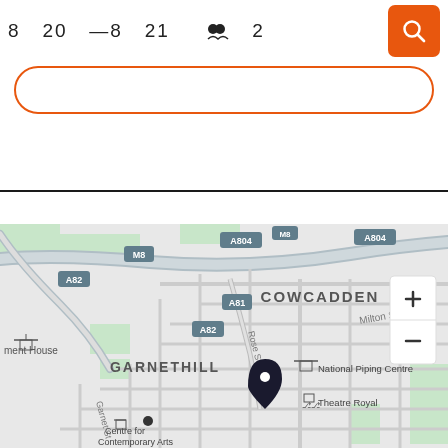8  20  —8  21     2
[Figure (screenshot): Orange search button with magnifying glass icon in top right corner]
[Figure (map): Street map showing Garnethill and Cowcadden areas of Glasgow. Roads labeled M8, A82, A804, A81, A82, Rose St, Milton St, Garnet St. Features marked include National Piping Centre, Theatre Royal, Centre for Contemporary Arts, and a location pin marker. Map has zoom in/out controls (+/-) on the right side.]